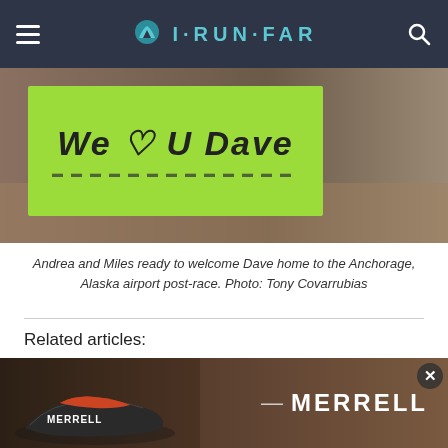I·RUN·FAR
[Figure (photo): Sign reading 'We ♡ U DAVE' on neon green poster board, held at the Anchorage Alaska airport post-race.]
Andrea and Miles ready to welcome Dave home to the Anchorage, Alaska airport post-race. Photo: Tony Covarrubias
Related articles:
Cassie Scallon, 2014 Sean O'Brien 50 Mile Champion, Interview An interview with Cassie Scallon following her win at the 2014 Sean O'Brien 50 Mile....
Núria Picas, 2014 Ultra-Trail Mount Fuji Champion, Interview
[Figure (photo): Merrell shoe advertisement showing a running shoe and a runner on trail, with MERRELL logo in white text.]